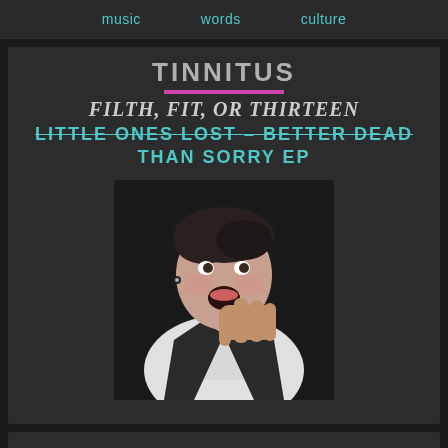music   words   culture
TINNITUS
FILTH, FIT, OR THIRTEEN
LITTLE ONES LOST – BETTER DEAD THAN SORRY EP
[Figure (photo): Person in white shirt with mouth open, hand raised to mouth, appearing to be singing or performing]
AVRIL LAVIGNE - BOIS LIE (ACOUSTIC, FEAT. MGK)